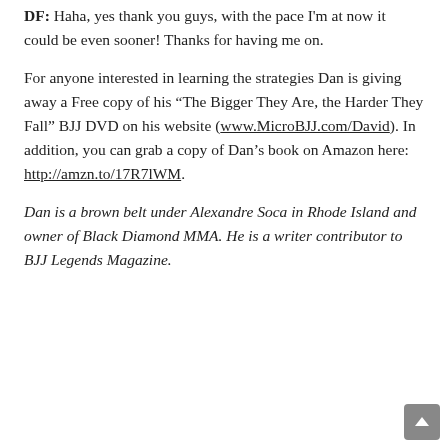DF: Haha, yes thank you guys, with the pace I'm at now it could be even sooner! Thanks for having me on.
For anyone interested in learning the strategies Dan is giving away a Free copy of his “The Bigger They Are, the Harder They Fall” BJJ DVD on his website (www.MicroBJJ.com/David). In addition, you can grab a copy of Dan’s book on Amazon here: http://amzn.to/17R7lWM.
Dan is a brown belt under Alexandre Soca in Rhode Island and owner of Black Diamond MMA. He is a writer contributor to BJJ Legends Magazine.